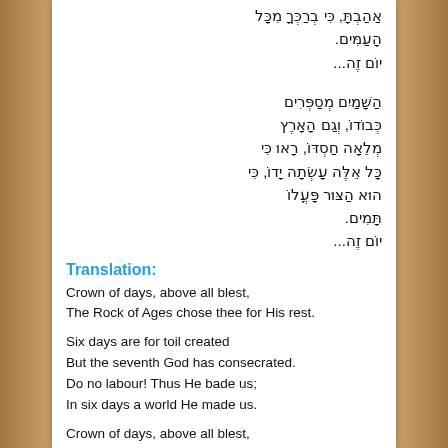אַהַבְתָּ, כִּי בְרַכְָּ מִכָּל הָעַמִּים. יוֹם זֶה...
הַשָּׁמַיִם מְסַפְּרִים כְּבוֹדוֹ, וְגַם הָאָרֶץ מְלֵאָה חַסְדּוֹ, רָאוּ כִּי כָּל אֵלֶּה עָשְׂתָה יָדוֹ, כִּי הוּא הַצּוּר פָּעֳלוֹ תָּמִים. יוֹם זֶה...
Translation:
Crown of days, above all blest,
The Rock of Ages chose thee for His rest.
Six days are for toil created
But the seventh God has consecrated.
Do no labour! Thus He bade us;
In six days a world He made us.
Crown of days, above all blest,